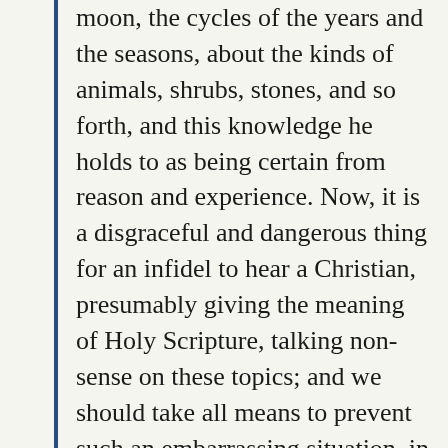moon, the cycles of the years and the seasons, about the kinds of animals, shrubs, stones, and so forth, and this knowledge he holds to as being certain from reason and experience. Now, it is a disgraceful and dangerous thing for an infidel to hear a Christian, presumably giving the meaning of Holy Scripture, talking non-sense on these topics; and we should take all means to prevent such an embarrassing situation, in which people show up vast ignorance in a Christian and laugh it to scorn. The shame is not so much that an ignorant individual is derided, but that people outside the household of the faith think...